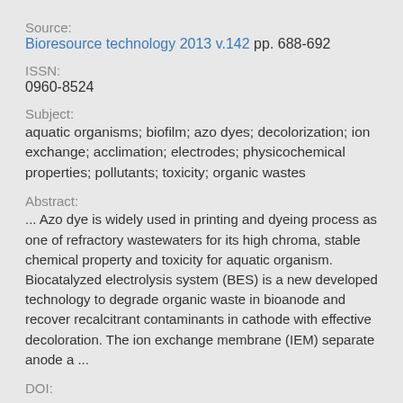Source:
Bioresource technology 2013 v.142 pp. 688-692
ISSN:
0960-8524
Subject:
aquatic organisms; biofilm; azo dyes; decolorization; ion exchange; acclimation; electrodes; physicochemical properties; pollutants; toxicity; organic wastes
Abstract:
... Azo dye is widely used in printing and dyeing process as one of refractory wastewaters for its high chroma, stable chemical property and toxicity for aquatic organism. Biocatalyzed electrolysis system (BES) is a new developed technology to degrade organic waste in bioanode and recover recalcitrant contaminants in cathode with effective decoloration. The ion exchange membrane (IEM) separate anode a ...
DOI: